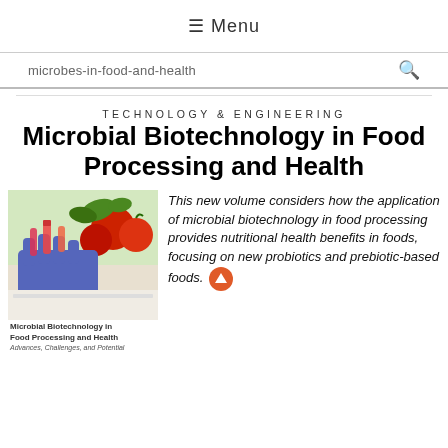☰ Menu
microbes-in-food-and-health
TECHNOLOGY & ENGINEERING
Microbial Biotechnology in Food Processing and Health
[Figure (photo): Book cover image showing laboratory gloves handling test tubes with tomatoes in the background, for 'Microbial Biotechnology in Food Processing and Health: Advances, Challenges, and Potential']
Microbial Biotechnology in Food Processing and Health Advances, Challenges, and Potential
This new volume considers how the application of microbial biotechnology in food processing provides nutritional health benefits in foods, focusing on new probiotics and prebiotic-based foods.